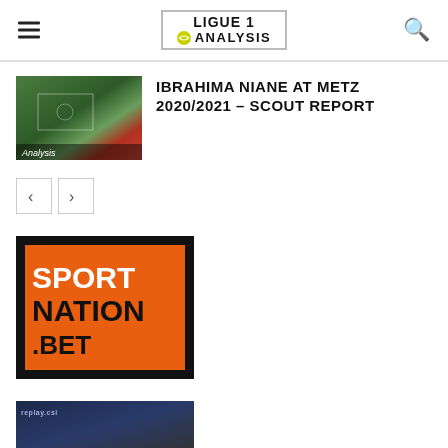LIGUE 1 ANALYSIS
IBRAHIMA NIANE AT METZ 2020/2021 – SCOUT REPORT
[Figure (screenshot): Football match screenshot with 'Analysis' label overlay]
[Figure (logo): SportNation.bet advertisement banner — black background with orange box containing SPORT NATION .BET text]
[Figure (photo): Dark blue/dark image at bottom, appears to be a sports-related photo with replay badge]